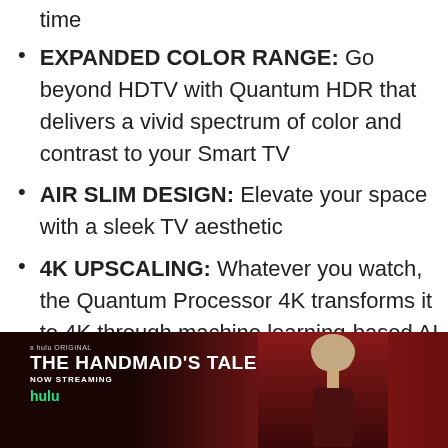time
EXPANDED COLOR RANGE: Go beyond HDTV with Quantum HDR that delivers a vivid spectrum of color and contrast to your Smart TV
AIR SLIM DESIGN: Elevate your space with a sleek TV aesthetic
4K UPSCALING: Whatever you watch, the Quantum Processor 4K transforms it to 4K through machine learning-based AI
[Figure (photo): Hulu original promotional image for The Handmaid's Tale showing 'a hulu ORIGINAL / THE HANDMAID'S TALE / NOW STREAMING / hulu' text over a dark red background with a person]